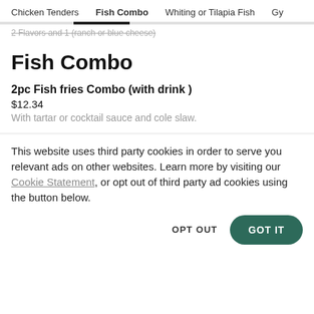Chicken Tenders   Fish Combo   Whiting or Tilapia Fish   Gy
2 Flavors and 1 (ranch or blue cheese)
Fish Combo
2pc Fish fries Combo (with drink )
$12.34
With tartar or cocktail sauce and cole slaw.
This website uses third party cookies in order to serve you relevant ads on other websites. Learn more by visiting our Cookie Statement, or opt out of third party ad cookies using the button below.